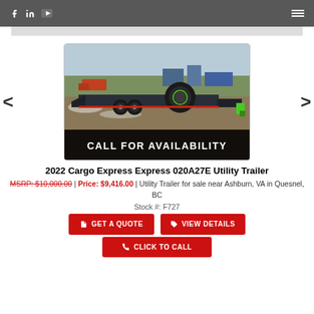f  in  ▶  ≡
[Figure (photo): Photo of a 2022 Cargo Express flatbed utility trailer in a gravel lot with trees and buildings in background. A spare tire is mounted on the trailer deck. Green coupler visible. Black overlay banner reads CALL FOR AVAILABILITY.]
2022 Cargo Express Express 020A27E Utility Trailer
MSRP: $10,000.00 | Price: $9,416.00 | Utility Trailer for sale near Ashburn, VA in Quesnel, BC
Stock #: F727
GET A QUOTE
VIEW DETAILS
CLICK TO CALL